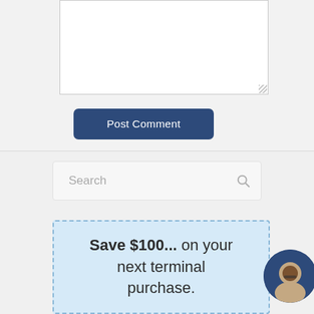[Figure (screenshot): Text area input box, partially visible at top of page, with resize handle in bottom-right corner]
[Figure (screenshot): Dark navy blue 'Post Comment' button with rounded corners]
[Figure (screenshot): Search input box with placeholder text 'Search' and a search icon on the right]
Save $100... on your next terminal purchase.
[Figure (photo): Circular avatar photo of a woman with glasses and dark hair, partially visible on the right edge, set against a dark navy background]